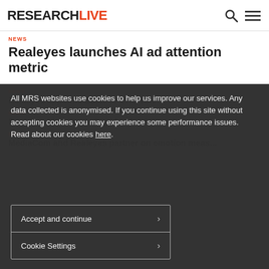RESEARCHLIVE
NEWS
Realeyes launches AI ad attention metric
All MRS websites use cookies to help us improve our services. Any data collected is anonymised. If you continue using this site without accepting cookies you may experience some performance issues. Read about our cookies here.
NEWS
Realeyes appoints Blake to CRO role
NEWS
Realeyes hires Paula David to lead US sales
Accept and continue
Cookie Settings
NEWS
MediaCom and Realeyes partner on emotion meas...